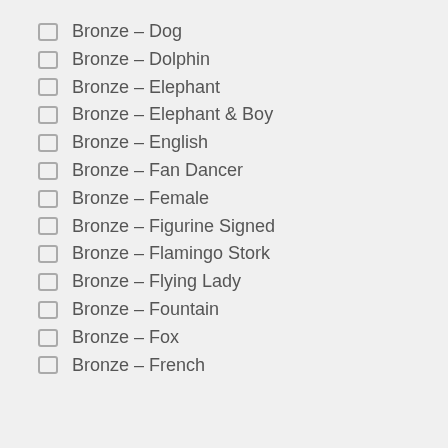Bronze – Dog
Bronze – Dolphin
Bronze – Elephant
Bronze – Elephant & Boy
Bronze – English
Bronze – Fan Dancer
Bronze – Female
Bronze – Figurine Signed
Bronze – Flamingo Stork
Bronze – Flying Lady
Bronze – Fountain
Bronze – Fox
Bronze – French